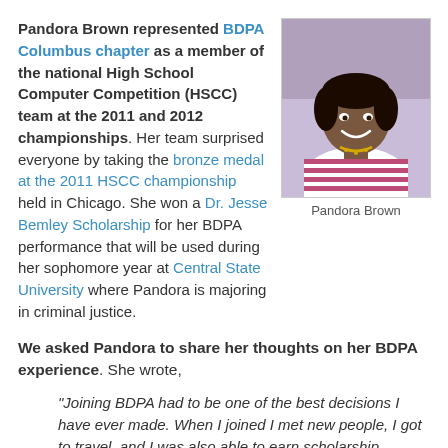Pandora Brown represented BDPA Columbus chapter as a member of the national High School Computer Competition (HSCC) team at the 2011 and 2012 championships. Her team surprised everyone by taking the bronze medal at the 2011 HSCC championship held in Chicago. She won a Dr. Jesse Bemley Scholarship for her BDPA performance that will be used during her sophomore year at Central State University where Pandora is majoring in criminal justice.
[Figure (photo): Photo of Pandora Brown, a young woman smiling, wearing a striped shirt and necklace]
Pandora Brown
We asked Pandora to share her thoughts on her BDPA experience. She wrote,
"Joining BDPA had to be one of the best decisions I have ever made. When I joined I met new people, I got to travel, and I was also able to earn scholarship money. I would recommend